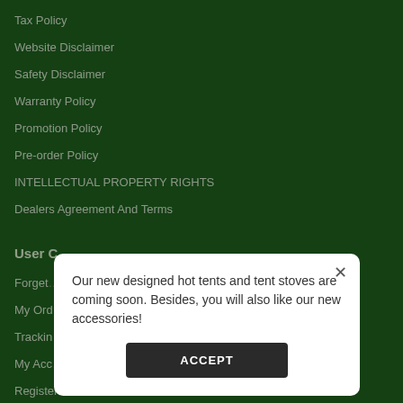Tax Policy
Website Disclaimer
Safety Disclaimer
Warranty Policy
Promotion Policy
Pre-order Policy
INTELLECTUAL PROPERTY RIGHTS
Dealers Agreement And Terms
User C…
Forget…
My Ord…
Trackin…
My Acc…
Register
Our new designed hot tents and tent stoves are coming soon. Besides, you will also like our new accessories!
ACCEPT